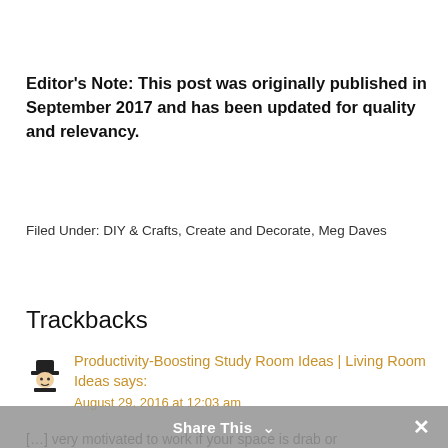Editor's Note: This post was originally published in September 2017 and has been updated for quality and relevancy.
Filed Under: DIY & Crafts, Create and Decorate, Meg Daves
Trackbacks
Productivity-Boosting Study Room Ideas | Living Room Ideas says:
August 29, 2016 at 12:03 am
[…] very motivated to work if your space is drab or